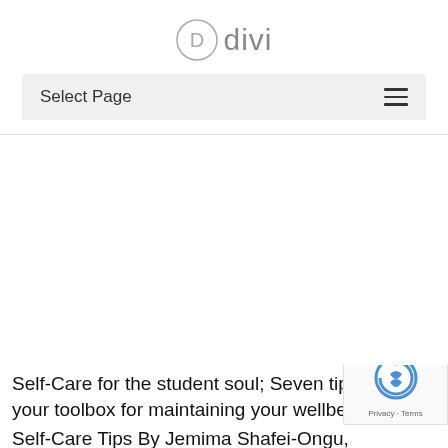D divi
Select Page
Self-Care for the student soul; Seven tips to add your toolbox for maintaining your wellbeing
Self-Care Tips By Jemima Shafei-Ongu, Psychologist